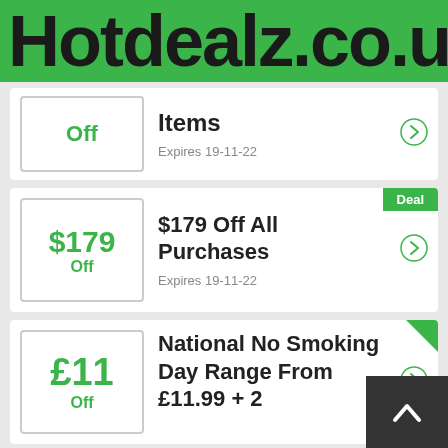Hotdealz.co.uk
Off   Items   Expires 19-11-22
$179 Off All Purchases   Expires 19-11-22
National No Smoking Day Range From £11.99 + 2